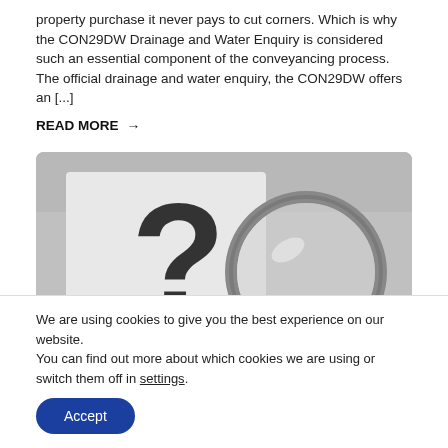property purchase it never pays to cut corners. Which is why the CON29DW Drainage and Water Enquiry is considered such an essential component of the conveyancing process. The official drainage and water enquiry, the CON29DW offers an [...]
READ MORE →
[Figure (photo): Black and white photo of a large question mark printed on paper with a magnifying glass lens placed over it, on a grey background]
We are using cookies to give you the best experience on our website.
You can find out more about which cookies we are using or switch them off in settings.
Accept